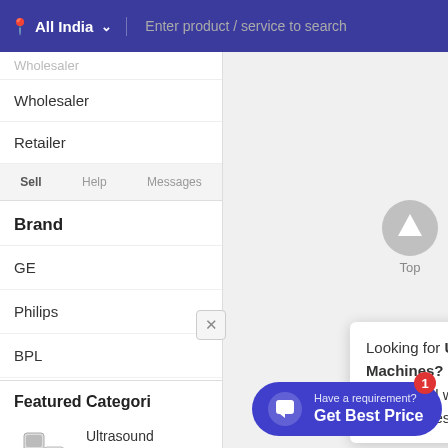All India  •  Enter product / service to search
Wholesaler
Retailer
Brand
GE
Philips
BPL
Featured Categori
Ultrasound Machines
Get Quotes
Looking for Ultrasound Machines? Just provide a few details and we will help you get quick quotes!
Have a requirement?
Get Best Price